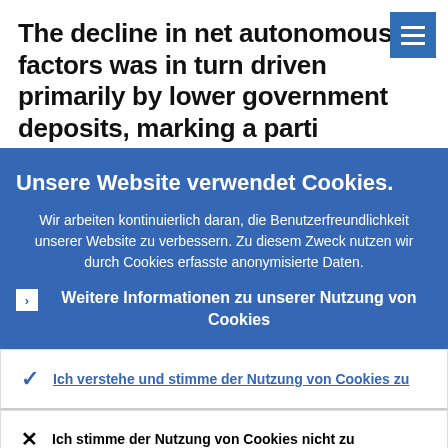The decline in net autonomous factors was in turn driven primarily by lower government deposits, marking a parti...
Unsere Website verwendet Cookies.
Wir arbeiten kontinuierlich daran, die Benutzerfreundlichkeit unserer Website zu verbessern. Zu diesem Zweck nutzen wir durch Cookies erfasste anonymisierte Daten.
Weitere Informationen zu unserer Nutzung von Cookies
Ich verstehe und stimme der Nutzung von Cookies zu
Ich stimme der Nutzung von Cookies nicht zu